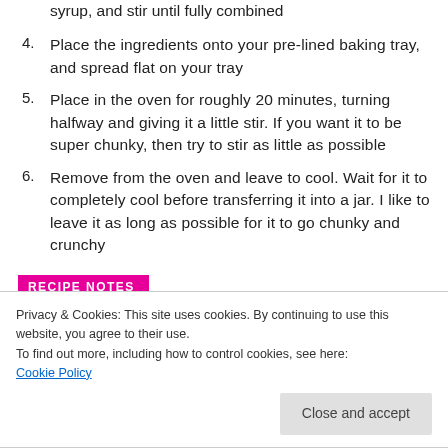syrup, and stir until fully combined
4. Place the ingredients onto your pre-lined baking tray, and spread flat on your tray
5. Place in the oven for roughly 20 minutes, turning halfway and giving it a little stir. If you want it to be super chunky, then try to stir as little as possible
6. Remove from the oven and leave to cool. Wait for it to completely cool before transferring it into a jar. I like to leave it as long as possible for it to go chunky and crunchy
RECIPE NOTES
Privacy & Cookies: This site uses cookies. By continuing to use this website, you agree to their use.
To find out more, including how to control cookies, see here:
Cookie Policy
Close and accept